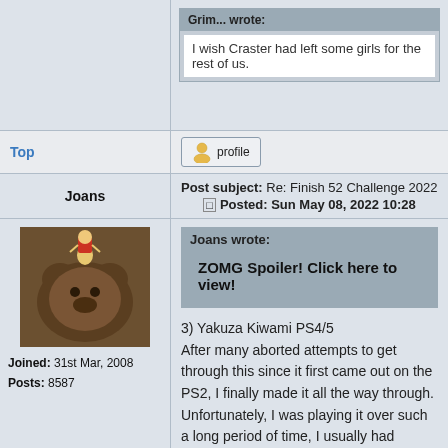Grim... wrote:
I wish Craster had left some girls for the rest of us.
Top
[Figure (illustration): Profile button with user icon and 'profile' text]
Joans
Post subject: Re: Finish 52 Challenge 2022
Posted: Sun May 08, 2022 10:28
[Figure (photo): Avatar image showing a bear figurine with a small girl figure on top, dark brown bear with red accents]
Joined: 31st Mar, 2008
Posts: 8587
Joans wrote:
ZOMG Spoiler! Click here to view!
3) Yakuza Kiwami PS4/5
After many aborted attempts to get through this since it first came out on the PS2, I finally made it all the way through. Unfortunately, I was playing it over such a long period of time, I usually had absolutely no idea who